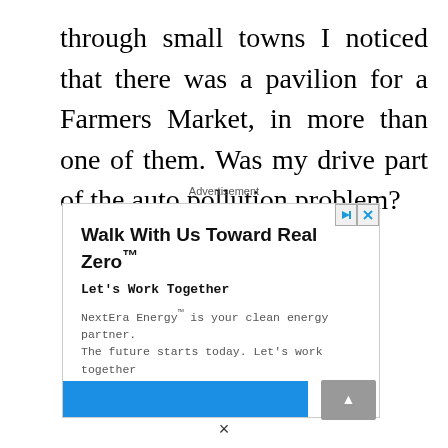through small towns I noticed that there was a pavilion for a Farmers Market, in more than one of them. Was my drive part of the auto pollution problem?
Advertisement
[Figure (screenshot): Advertisement box for NextEra Energy with headline 'Walk With Us Toward Real Zero™', subheading 'Let's Work Together', body text about clean energy partnership, and nexteraenergy.com URL]
×